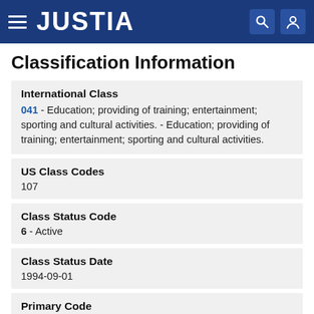JUSTIA
Classification Information
International Class
041 - Education; providing of training; entertainment; sporting and cultural activities. - Education; providing of training; entertainment; sporting and cultural activities.
US Class Codes
107
Class Status Code
6 - Active
Class Status Date
1994-09-01
Primary Code